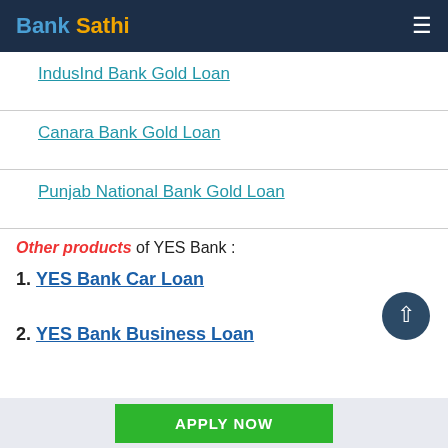Bank Sathi
IndusInd Bank Gold Loan
Canara Bank Gold Loan
Punjab National Bank Gold Loan
Other products of YES Bank :
1. YES Bank Car Loan
2. YES Bank Business Loan
APPLY NOW